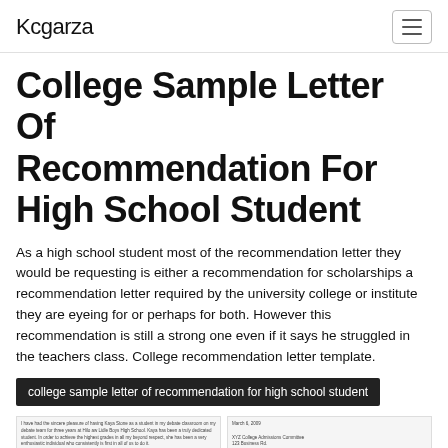Kcgarza
College Sample Letter Of Recommendation For High School Student
As a high school student most of the recommendation letter they would be requesting is either a recommendation for scholarships a recommendation letter required by the university college or institute they are eyeing for or perhaps for both. However this recommendation is still a strong one even if it says he struggled in the teachers class. College recommendation letter template.
college sample letter of recommendation for high school student
[Figure (photo): Two side-by-side document images showing sample college recommendation letters for high school students.]